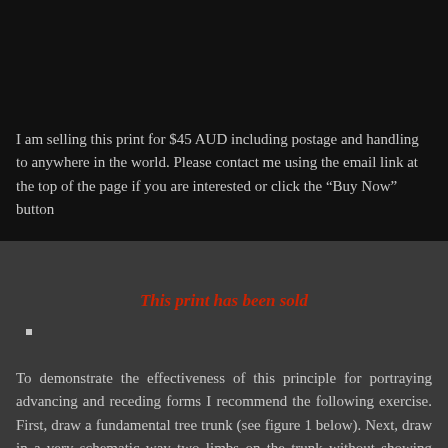[Figure (photo): Dark black image area at top of page (artwork/print not visible)]
I am selling this print for $45 AUD including postage and handling to anywhere in the world. Please contact me using the email link at the top of the page if you are interested or click the “Buy Now” button
This print has been sold
■
To demonstrate the effectiveness of this principle for portraying advancing and receding forms I recommend the following exercise. First, draw a fundamental tree trunk (see figure 1 below). Next, draw in a very schematic way two limbs on the trunk without showing how they are attached to the trunk (figure 2 below). Finally, experiment with applying the two types of contour lines discussed above to see which makes the limb advance and which makes it recede (i.e. inscribe maks